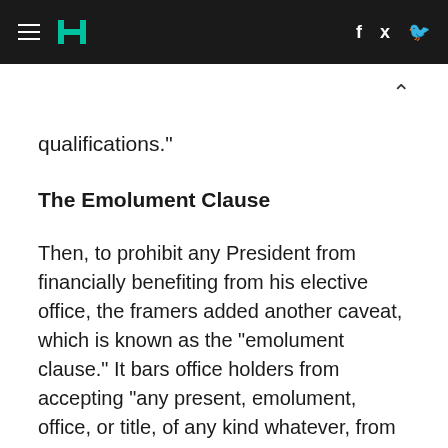HuffPost navigation with hamburger menu, logo, Facebook and Twitter links
qualifications."
The Emolument Clause
Then, to prohibit any President from financially benefiting from his elective office, the framers added another caveat, which is known as the "emolument clause." It bars office holders from accepting "any present, emolument, office, or title, of any kind whatever, from any king, prince, or foreign state." Foreign governments are already booking events at Trump's new D.C.